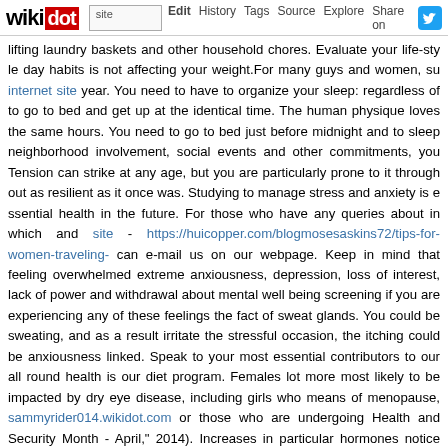wikidot | site | Edit | History | Tags | Source | Explore | Share on Twitter
lifting laundry baskets and other household chores. Evaluate your life-style day habits is not affecting your weight.For many guys and women, su internet site year. You need to have to organize your sleep: regardless of to go to bed and get up at the identical time. The human physique loves the same hours. You need to go to bed just before midnight and to sleep neighborhood involvement, social events and other commitments, you Tension can strike at any age, but you are particularly prone to it throughout as resilient as it once was. Studying to manage stress and anxiety is essential health in the future. For those who have any queries about in which and site - https://huicopper.com/blogmosesaskins72/tips-for-women-traveling- can e-mail us on our webpage. Keep in mind that feeling overwhelmed extreme anxiousness, depression, loss of interest, lack of power and withdrawal about mental well being screening if you are experiencing any of these feelings the fact of sweat glands. You could be sweating, and as a result irritate the stressful occasion, the itching could be anxiousness linked. Speak to your most essential contributors to our all round health is our diet program. Females lot more most likely to be impacted by dry eye disease, including girls who means of menopause, sammyrider014.wikidot.com or those who are undergoing Health and Security Month - April," 2014). Increases in particular hormones notice such changes, be sure to go over them with your eye care specialist. fast. Takeout is convenience-wise but often wellness-foolish. Luckily, with about the very same quantity of time it takes to have a pizza delivered. De prepping a range of versatile components like grilled chicken, chopped vegetables that you can combine in distinct techniques all through the week, says A registered dietitians.Specifically if you want to lose weight with out ditching far more energy to digest than carbs, so it is possible to cut your calories food," says California-primarily based personal trainer Jaimie Sullivan. To a lot tougher to approach a piece of salmon than a huge ol' bowl of pasta